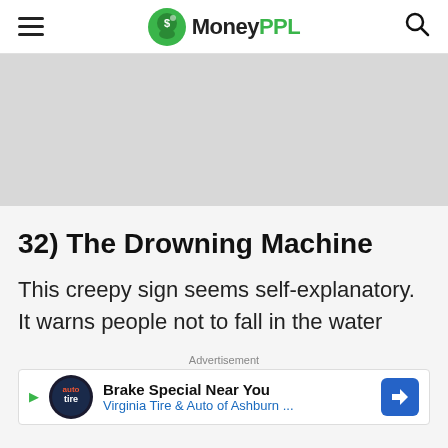MoneyPPL
[Figure (other): Gray advertisement banner placeholder]
32) The Drowning Machine
This creepy sign seems self-explanatory. It warns people not to fall in the water
Advertisement
[Figure (other): Advertisement: Brake Special Near You - Virginia Tire & Auto of Ashburn ...]